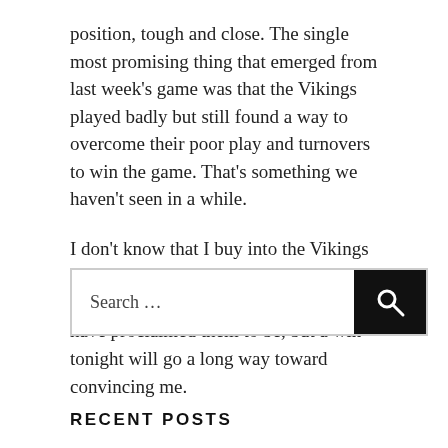position, tough and close. The single most promising thing that emerged from last week's game was that the Vikings played badly but still found a way to overcome their poor play and turnovers to win the game. That's something we haven't seen in a while.
I don't know that I buy into the Vikings being the hottest team going into the playoffs, as so many national pundits have proclaimed them to be, but a win tonight will go a long way toward convincing me.
Search …
RECENT POSTS